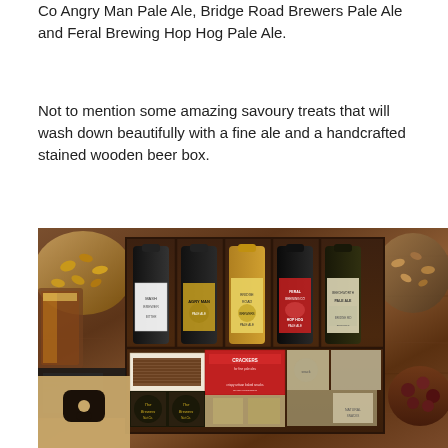Co Angry Man Pale Ale, Bridge Road Brewers Pale Ale and Feral Brewing Hop Hog Pale Ale.
Not to mention some amazing savoury treats that will wash down beautifully with a fine ale and a handcrafted stained wooden beer box.
[Figure (photo): Overhead flat-lay photo of a handcrafted stained wooden beer box containing five beer bottles (including Feral Hop Hog Pale Ale, Bridge Road Brewers Pale Ale, and others), surrounded by bowls of mixed nuts, dark olives/chocolate, savoury crackers and snack packages on a wooden table. A small icon/watermark block is overlaid in the lower-left corner.]